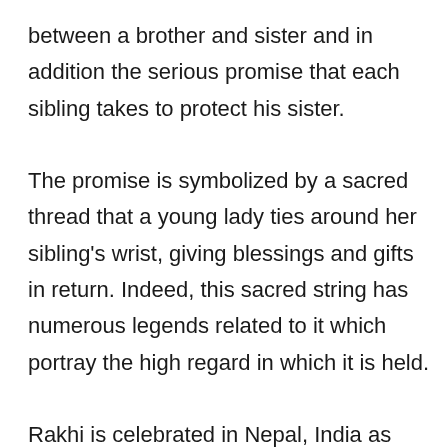between a brother and sister and in addition the serious promise that each sibling takes to protect his sister.

The promise is symbolized by a sacred thread that a young lady ties around her sibling's wrist, giving blessings and gifts in return. Indeed, this sacred string has numerous legends related to it which portray the high regard in which it is held.

Rakhi is celebrated in Nepal, India as well